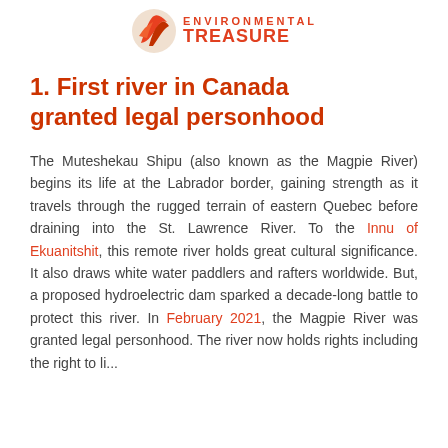ENVIRONMENTAL TREASURE
1. First river in Canada granted legal personhood
The Muteshekau Shipu (also known as the Magpie River) begins its life at the Labrador border, gaining strength as it travels through the rugged terrain of eastern Quebec before draining into the St. Lawrence River. To the Innu of Ekuanitshit, this remote river holds great cultural significance. It also draws white water paddlers and rafters worldwide. But, a proposed hydroelectric dam sparked a decade-long battle to protect this river. In February 2021, the Magpie River was granted legal personhood. The river now holds rights including the right to li...